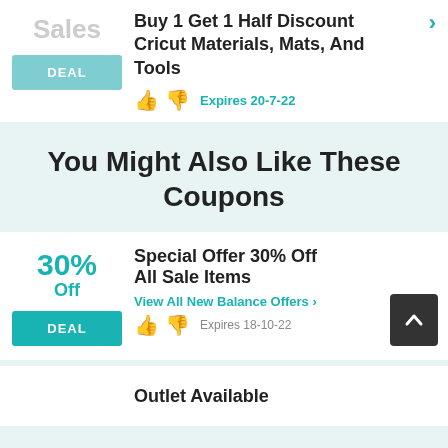Sales
DEAL
Buy 1 Get 1 Half Discount Cricut Materials, Mats, And Tools
Expires 20-7-22
You Might Also Like These Coupons
30% Off
DEAL
Special Offer 30% Off All Sale Items
View All New Balance Offers >
Expires 18-10-22
Outlet Available